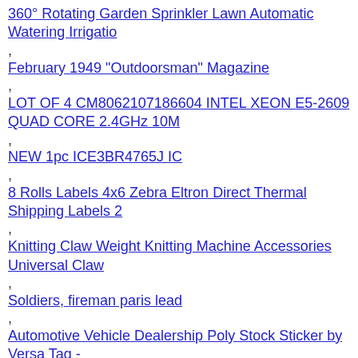360° Rotating Garden Sprinkler Lawn Automatic Watering Irrigatio
February 1949 "Outdoorsman" Magazine
LOT OF 4 CM8062107186604 INTEL XEON E5-2609 QUAD CORE 2.4GHz 10M
NEW 1pc ICE3BR4765J IC
8 Rolls Labels 4x6 Zebra Eltron Direct Thermal Shipping Labels 2
Knitting Claw Weight Knitting Machine Accessories Universal Claw
Soldiers, fireman paris lead
Automotive Vehicle Dealership Poly Stock Sticker by Versa Tag -
Two Vintage Exquisite Sterling Silver Sanborne Mexican Candelabr
NINE WEST Women's Solid Crepe Criss Cross Boxy Tee - Choose SZ/c